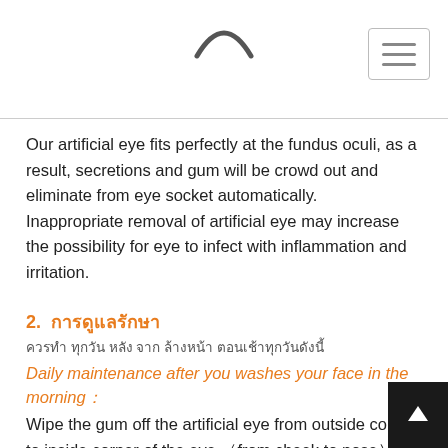Our artificial eye fits perfectly at the fundus oculi, as a result, secretions and gum will be crowd out and eliminate from eye socket automatically.  Inappropriate removal of artificial eye may increase the possibility for eye to infect with inflammation and irritation.
2.  การดูแลรักษา
ควรทำ ทุกวัน หลัง จาก ล้างหน้า ตอนเช้าทุกวันดังนี้
Daily maintenance after you washes your face in the morning：
Wipe the gum off the artificial eye from outside corner to inside corner of the eye （from cheek to nose）, apply eye drops on the artificial eye.